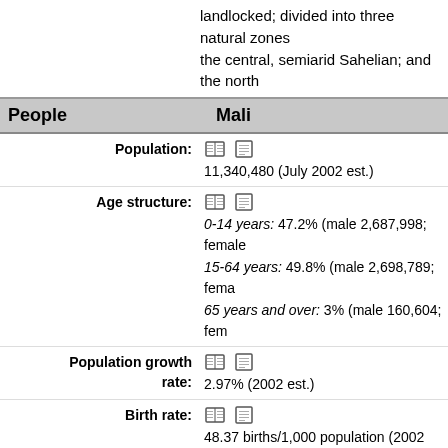landlocked; divided into three natural zones the central, semiarid Sahelian; and the north
| People | Mali |
| --- | --- |
| Population: | 11,340,480 (July 2002 est.) |
| Age structure: | 0-14 years: 47.2% (male 2,687,998; female
15-64 years: 49.8% (male 2,698,789; fema
65 years and over: 3% (male 160,604; fem |
| Population growth rate: | 2.97% (2002 est.) |
| Birth rate: | 48.37 births/1,000 population (2002 est.) |
| Death rate: | 18.32 deaths/1,000 population (2002 est.) |
| Net migration rate: | -0.35 migrant(s)/1,000 population (2002 es |
| Sex ratio: | at birth: 1.03 male(s)/female |